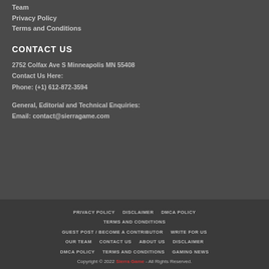Team
Privacy Policy
Terms and Conditions
CONTACT US
2752 Colfax Ave S Minneapolis MN 55408
Contact Us Here:
Phone: (+1) 612-872-3594
General, Editorial and Technical Enquiries:
Email: contact@sierragame.com
PRIVACY POLICY   DISCLAIMER   DMCA POLICY   TERMS AND CONDITIONS   GUEST POST / BECOME A CONTRIBUTOR   WRITE FOR US   OUR TEAM   CONTACT US   ABOUT US   DISCLAIMER   DMCA POLICY   TERMS AND CONDITIONS   GAMING NEWS
Copyright © 2022 Sierra Game - All Rights Reserved.